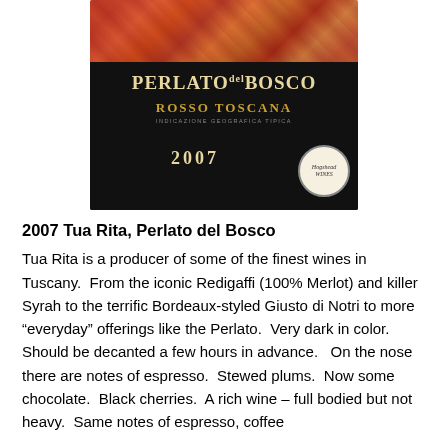[Figure (photo): Photo of Perlato del Bosco Rosso Toscana 2007 wine bottle label by Tua Rita, with colorful artistic label on top and black label band showing the wine name and year, with a Hogshead stamp in the corner.]
2007 Tua Rita, Perlato del Bosco
Tua Rita is a producer of some of the finest wines in Tuscany.  From the iconic Redigaffi (100% Merlot) and killer Syrah to the terrific Bordeaux-styled Giusto di Notri to more “everyday” offerings like the Perlato.  Very dark in color.  Should be decanted a few hours in advance.   On the nose there are notes of espresso.  Stewed plums.  Now some chocolate.  Black cherries.  A rich wine – full bodied but not heavy.  Same notes of espresso, coffee